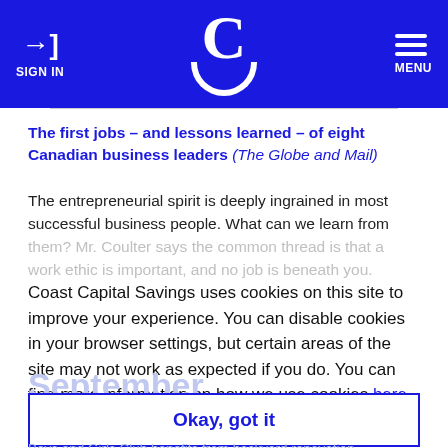SIGN IN | C [logo] | MENU
The first jobs – and lessons learned – of eight Canadian business leaders (The Globe and Mail)
The entrepreneurial spirit is deeply ingrained in most successful business people. What can we learn from them? Mr. Coulter says the common thread is that a work ethic is important, and no job is beneath you.
Coast Capital Savings uses cookies on this site to improve your experience. You can disable cookies in your browser settings, but certain areas of the site may not work as expected if you do. You can find more information on how we use cookies here.
September
Okay, got it
Boys and Girls Club benefits from backyard renovation (Nanaimo News Bulletin)